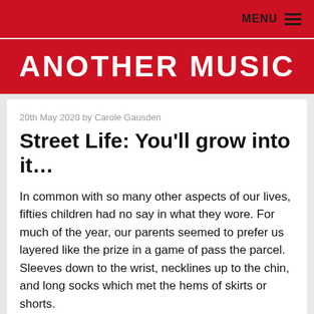MENU
ANOTHER MUSIC
20th May 2020 by Carole Gausden
Street Life: You'll grow into it...
In common with so many other aspects of our lives, fifties children had no say in what they wore. For much of the year, our parents seemed to prefer us layered like the prize in a game of pass the parcel. Sleeves down to the wrist, necklines up to the chin, and long socks which met the hems of skirts or shorts.